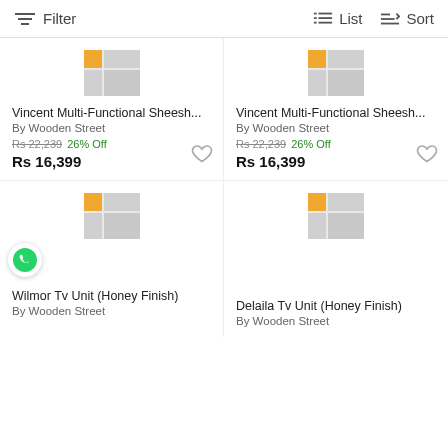Filter   List   Sort
[Figure (screenshot): Product listing grid with two rows of furniture items. Top row: two Vincent Multi-Functional Sheesh... items by Wooden Street, Rs 22,239 original price, 26% off, Rs 16,399 sale price. Bottom row: Wilmor Tv Unit (Honey Finish) and Delaila Tv Unit (Honey Finish), both by Wooden Street. Placeholder product images shown.]
Vincent Multi-Functional Sheesh...
By Wooden Street
Rs 22,239  26% Off
Rs 16,399
Vincent Multi-Functional Sheesh...
By Wooden Street
Rs 22,239  26% Off
Rs 16,399
Wilmor Tv Unit (Honey Finish)
By Wooden Street
Delaila Tv Unit (Honey Finish)
By Wooden Street